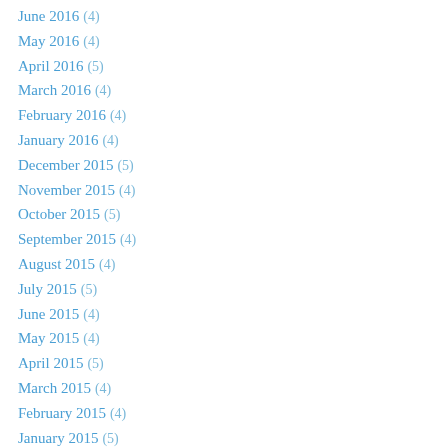June 2016 (4)
May 2016 (4)
April 2016 (5)
March 2016 (4)
February 2016 (4)
January 2016 (4)
December 2015 (5)
November 2015 (4)
October 2015 (5)
September 2015 (4)
August 2015 (4)
July 2015 (5)
June 2015 (4)
May 2015 (4)
April 2015 (5)
March 2015 (4)
February 2015 (4)
January 2015 (5)
December 2014 (3)
November 2014 (4)